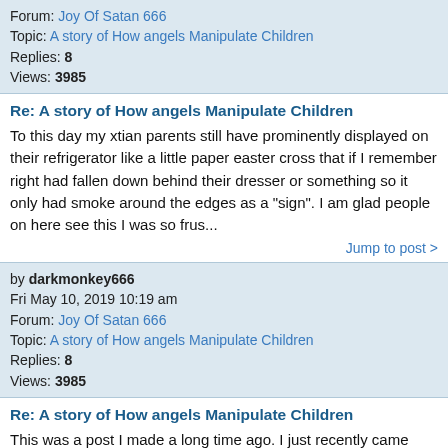Forum: Joy Of Satan 666
Topic: A story of How angels Manipulate Children
Replies: 8
Views: 3985
Re: A story of How angels Manipulate Children
To this day my xtian parents still have prominently displayed on their refrigerator like a little paper easter cross that if I remember right had fallen down behind their dresser or something so it only had smoke around the edges as a "sign". I am glad people on here see this I was so frus...
Jump to post >
by darkmonkey666
Fri May 10, 2019 10:19 am
Forum: Joy Of Satan 666
Topic: A story of How angels Manipulate Children
Replies: 8
Views: 3985
Re: A story of How angels Manipulate Children
This was a post I made a long time ago. I just recently came across this again saved on internet archive. Well I think it's good to remember things like this when doing the rtr. This is totally a true story it happened to me. Although even though my mom admitted that she knew "god" made m...